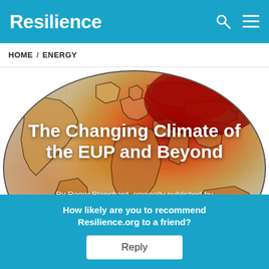Resilience
HOME / ENERGY
[Figure (map): Globe/world map showing temperature anomaly heat map with colors ranging from yellow/orange to deep red, indicating warming patterns. Red hotspot visible over northern Europe/Russia region.]
The Changing Climate of the EUP and Beyond
By Roger Blanchard, originally published by Resilience.org
April 8, 2021
How likely are you to recommend Resilience.org to a friend?
Reply